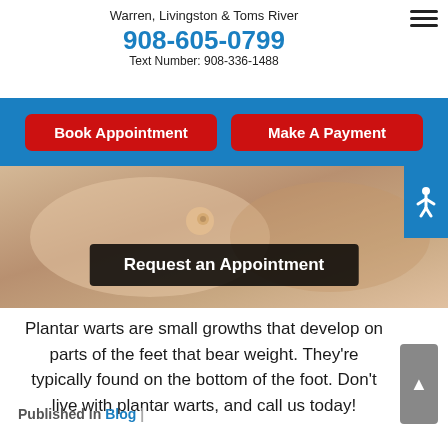Warren, Livingston & Toms River
908-605-0799
Text Number: 908-336-1488
Book Appointment
Make A Payment
[Figure (photo): Close-up photo of a hand holding a foot with a plantar wart visible, with a 'Request an Appointment' overlay button]
Plantar warts are small growths that develop on parts of the feet that bear weight. They're typically found on the bottom of the foot. Don't live with plantar warts, and call us today!
Published in Blog